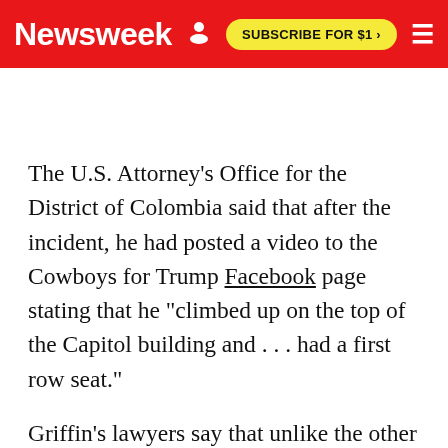Newsweek | SUBSCRIBE FOR $1 >
The U.S. Attorney's Office for the District of Colombia said that after the incident, he had posted a video to the Cowboys for Trump Facebook page stating that he "climbed up on the top of the Capitol building and . . . had a first row seat."
Griffin's lawyers say that unlike the other protesters, he did not enter the Capitol, but